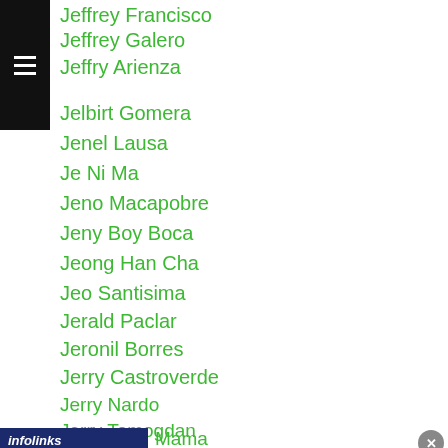Jeffrey Francisco
Jeffrey Galero
Jeffry Arienza
Jelbirt Gomera
Jenel Lausa
Je Ni Ma
Jeno Macapobre
Jeny Boy Boca
Jeong Han Cha
Jeo Santisima
Jerald Paclar
Jeronil Borres
Jerry Castroverde
Jerry Nardo
Jerry Tomogdan
Jerson Mancio
Mama
[Figure (screenshot): Infolinks advertisement bar and Firestone Tires ad banner: Get Up To $110 Off a Set of 4 Select Firestone Tires]